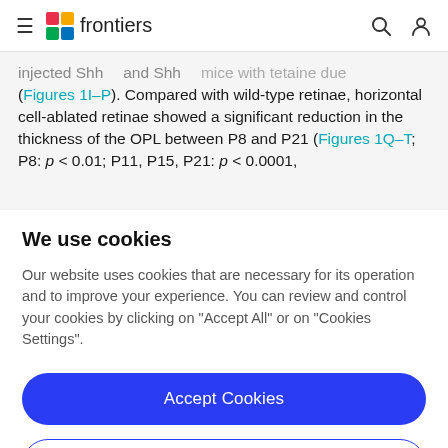frontiers
injected Shh and Shh ... mice with tetaine due (Figures 1I–P). Compared with wild-type retinae, horizontal cell-ablated retinae showed a significant reduction in the thickness of the OPL between P8 and P21 (Figures 1Q–T; P8: p < 0.01; P11, P15, P21: p < 0.0001,
We use cookies
Our website uses cookies that are necessary for its operation and to improve your experience. You can review and control your cookies by clicking on "Accept All" or on "Cookies Settings".
Accept Cookies
Cookies Settings